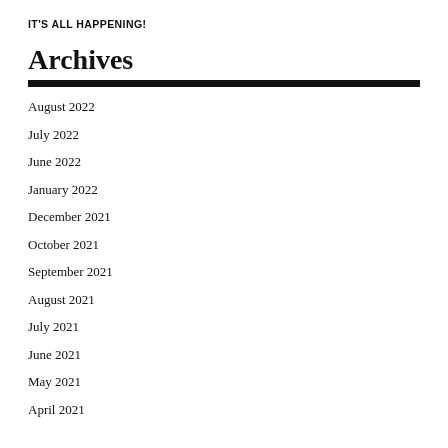IT'S ALL HAPPENING!
Archives
August 2022
July 2022
June 2022
January 2022
December 2021
October 2021
September 2021
August 2021
July 2021
June 2021
May 2021
April 2021